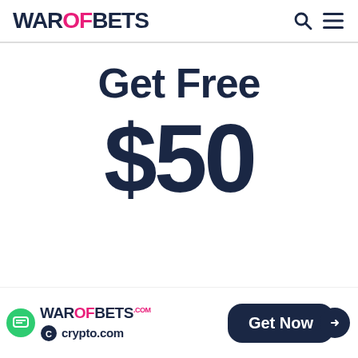WAROFBETS
Get Free
$50
[Figure (logo): WAROFBETS.com logo and crypto.com logo at bottom, with Get Now button]
Get Now